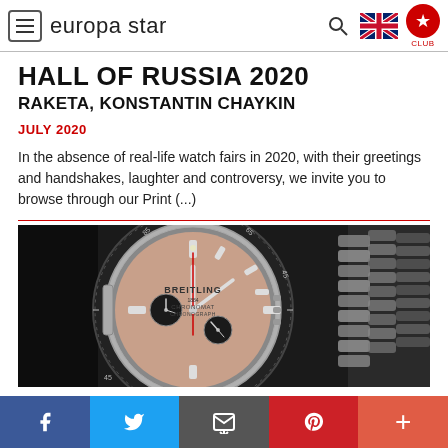europa star
HALL OF RUSSIA 2020
RAKETA, KONSTANTIN CHAYKIN
JULY 2020
In the absence of real-life watch fairs in 2020, with their greetings and handshakes, laughter and controversy, we invite you to browse through our Print (...)
[Figure (photo): Close-up photograph of a Breitling Chronomat chronograph watch with salmon/rose gold dial, tachymetre bezel, and steel bracelet on dark background]